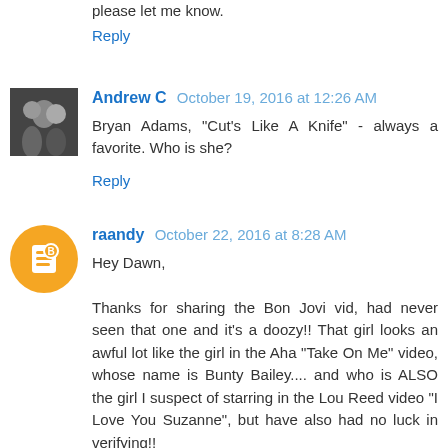please let me know.
Reply
Andrew C  October 19, 2016 at 12:26 AM
Bryan Adams, "Cut's Like A Knife" - always a favorite. Who is she?
Reply
raandy  October 22, 2016 at 8:28 AM
Hey Dawn,
Thanks for sharing the Bon Jovi vid, had never seen that one and it's a doozy!! That girl looks an awful lot like the girl in the Aha "Take On Me" video, whose name is Bunty Bailey.... and who is ALSO the girl I suspect of starring in the Lou Reed video "I Love You Suzanne", but have also had no luck in verifying!!
Cheers, Phil